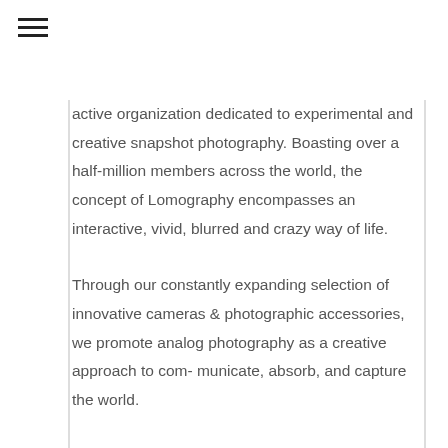active organization dedicated to experimental and creative snapshot photography. Boasting over a half-million members across the world, the concept of Lomography encompasses an interactive, vivid, blurred and crazy way of life.
Through our constantly expanding selection of innovative cameras & photographic accessories, we promote analog photography as a creative approach to com- municate, absorb, and capture the world.
Through the efforts and skill of our Lomographic Society members, we seek to document the incredible planet around us in a never-ending stream